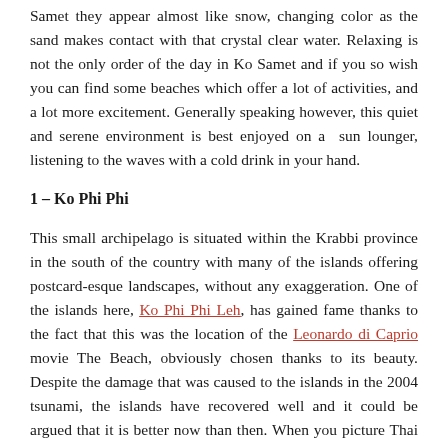Samet they appear almost like snow, changing color as the sand makes contact with that crystal clear water. Relaxing is not the only order of the day in Ko Samet and if you so wish you can find some beaches which offer a lot of activities, and a lot more excitement. Generally speaking however, this quiet and serene environment is best enjoyed on a sun lounger, listening to the waves with a cold drink in your hand.
1 – Ko Phi Phi
This small archipelago is situated within the Krabbi province in the south of the country with many of the islands offering postcard-esque landscapes, without any exaggeration. One of the islands here, Ko Phi Phi Leh, has gained fame thanks to the fact that this was the location of the Leonardo di Caprio movie The Beach, obviously chosen thanks to its beauty. Despite the damage that was caused to the islands in the 2004 tsunami, the islands have recovered well and it could be argued that it is better now than then. When you picture Thai islands, and think about azure water, tree-lined